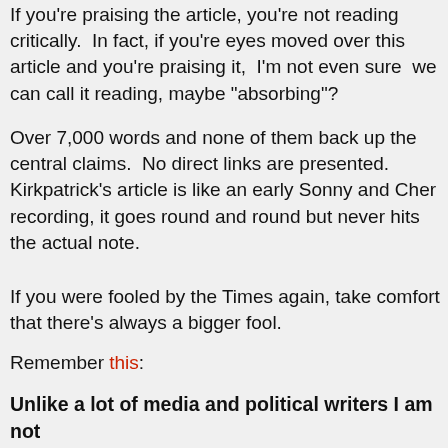If you're praising the article, you're not reading critically.  In fact, if you're eyes moved over this article and you're praising it,  I'm not even sure  we can call it reading, maybe "absorbing"?
Over 7,000 words and none of them back up the central claims.  No direct links are presented.  Kirkpatrick's article is like an early Sonny and Cher recording, it goes round and round but never hits the actual note.
If you were fooled by the Times again, take comfort that there's always a bigger fool.
Remember this:
Unlike a lot of media and political writers I am not